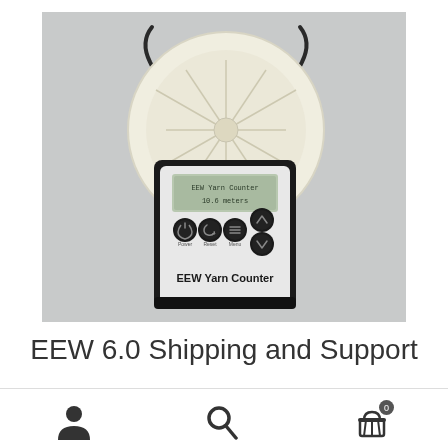[Figure (photo): EEW Yarn Counter device - a small electronic device with a circular white/cream disc mounted on top via two metal spring clips. The device body is black with a grey LCD display showing 'EEW Yarn Counter 10.6 meters', four circular buttons labeled Power, Reset, Menu, and two navigation arrows, and text 'EEW Yarn Counter' at the bottom. The background is light grey.]
EEW 6.0 Shipping and Support